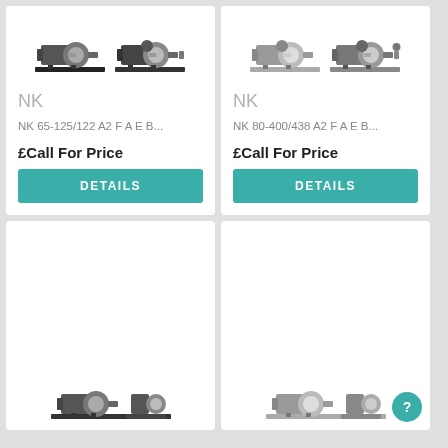[Figure (photo): Industrial pump product image - NK pump model, two pump units on base]
NK
NK 65-125/122 A2 F A E B...
£Call For Price
DETAILS
[Figure (photo): Industrial pump product image - NK pump model, two pump units on base]
NK
NK 80-400/438 A2 F A E B...
£Call For Price
DETAILS
[Figure (photo): Partial view of industrial pump product - bottom of page card]
[Figure (photo): Partial view of industrial pump product - bottom of page card]